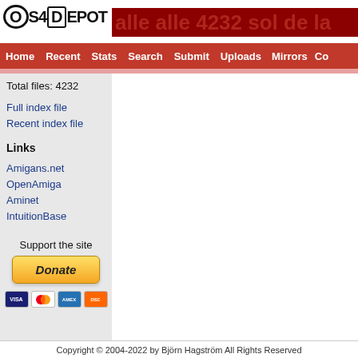[Figure (logo): OS4Depot logo with text and red banner header]
Home  Recent  Stats  Search  Submit  Uploads  Mirrors  Co
Total files: 4232
Full index file
Recent index file
Links
Amigans.net
OpenAmiga
Aminet
IntuitionBase
Support the site
[Figure (other): PayPal Donate button with VISA, Mastercard, Amex, Discover credit card icons]
Copyright © 2004-2022 by Björn Hagström All Rights Reserved